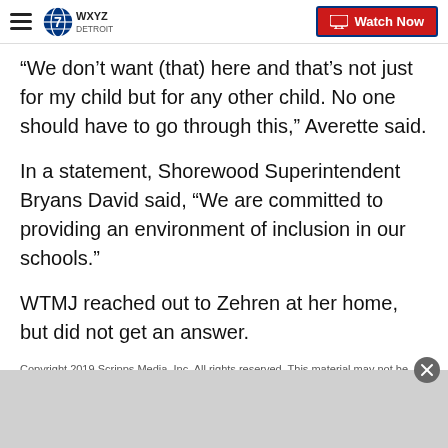WXYZ Detroit — Watch Now
“We don’t want (that) here and that’s not just for my child but for any other child. No one should have to go through this,” Averette said.
In a statement, Shorewood Superintendent Bryans David said, “We are committed to providing an environment of inclusion in our schools.”
WTMJ reached out to Zehren at her home, but did not get an answer.
Copyright 2019 Scripps Media, Inc. All rights reserved. This material may not be published, broadcast, rewritten, or redistributed.